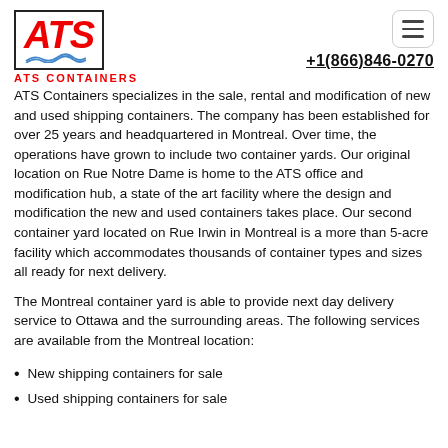[Figure (logo): ATS Containers logo: red bold italic 'ATS' text with wave lines beneath, inside a rectangular border, with 'ATS CONTAINERS' in red below]
+1(866)846-0270
ATS Containers specializes in the sale, rental and modification of new and used shipping containers. The company has been established for over 25 years and headquartered in Montreal. Over time, the operations have grown to include two container yards. Our original location on Rue Notre Dame is home to the ATS office and modification hub, a state of the art facility where the design and modification the new and used containers takes place. Our second container yard located on Rue Irwin in Montreal is a more than 5-acre facility which accommodates thousands of container types and sizes all ready for next delivery.
The Montreal container yard is able to provide next day delivery service to Ottawa and the surrounding areas. The following services are available from the Montreal location:
New shipping containers for sale
Used shipping containers for sale